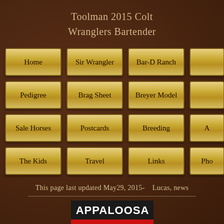Toolman 2015 Colt
Wranglers Bartender
[Figure (screenshot): Navigation buttons grid with golden metallic style buttons: Home, Sir Wrangler, Bar-D Ranch, (partial), Pedigree, Brag Sheet, Breyer Model, (partial), Sale Horses, Postcards, Breeding, (partial), The Kids, Travel, Links, Pho(partial)]
This page last updated May29, 2015-    Lucas, news
[Figure (logo): Appaloosa logo with black horse silhouette on red background with white spotted rump, black and white APPALOOSA text banner at top]